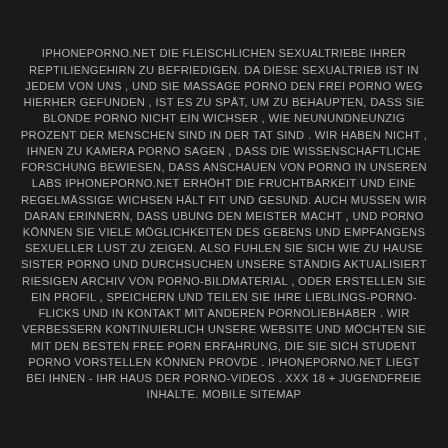IPHONEPORNO.NET DIE FLEISCHLICHEN SEXUALTRIEBE IHRER REPTILIENGEHIRN ZU BEFRIEDIGEN. DA DIESE SEXUALTRIEB IST IN JEDEM VON UNS , UND SIE MASSAGE PORNO DEN FREI PORNO WEG HIERHER GEFUNDEN , IST ES ZU SPÄT, UM ZU BEHAUPTEN, DASS SIE BLONDE PORNO NICHT EIN WICHSER , WIE NEUNUNDNEUNZIG PROZENT DER MENSCHEN SIND IN DER TAT SIND . WIR HABEN NICHT , IHNEN ZU KAMERA PORNO SAGEN , DASS DIE WISSENSCHAFTLICHE FORSCHUNG BEWIESEN, DASS ANSCHAUEN VON PORNO IN UNSEREN LABS IPHONEPORNO.NET ERHÖHT DIE FRUCHTBARKEIT UND EINE REGELMÄSSIGE WICHSEN HÄLT FIT UND GESUND. AUCH MUSSEN WIR DARAN ERINNERN, DASS UBUNG DEN MEISTER MACHT , UND PORNO KÖNNEN SIE VIELE MÖGLICHKEITEN DES GEBENS UND EMPFANGENS SEXUELLER LUST ZU ZEIGEN. ALSO FUHLEN SIE SICH WIE ZU HAUSE SISTER PORNO UND DURCHSUCHEN UNSERE STÄNDIG AKTUALISIERT RIESIGEN ARCHIV VON PORNO-BILDMATERIAL , ODER ERSTELLEN SIE EIN PROFIL , SPEICHERN UND TEILEN SIE IHRE LIEBLINGS-PORNO-FLICKS UND IN KONTAKT MIT ANDEREN PORNOLIEBHABER . WIR VERBESSERN KONTINUIERLICH UNSERE WEBSITE UND MÖCHTEN SIE MIT DEN BESTEN FREE PORN ERFAHRUNG, DIE SIE SICH STUDENT PORNO VORSTELLEN KÖNNEN PROVDE . IPHONEPORNO.NET LIEGT BEI IHNEN - IHR HAUS DER PORNO-VIDEOS . XXX 18 + JUGENDFREIE INHALTE. MOBILE SITEMAP